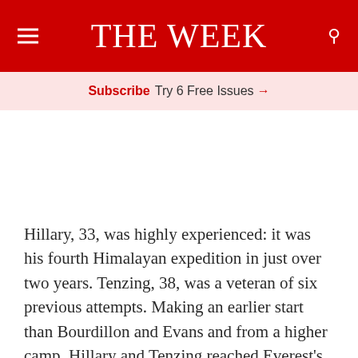THE WEEK
Subscribe Try 6 Free Issues →
Hillary, 33, was highly experienced: it was his fourth Himalayan expedition in just over two years. Tenzing, 38, was a veteran of six previous attempts. Making an earlier start than Bourdillon and Evans and from a higher camp, Hillary and Tenzing reached Everest's summit at 11.30am and spent 15